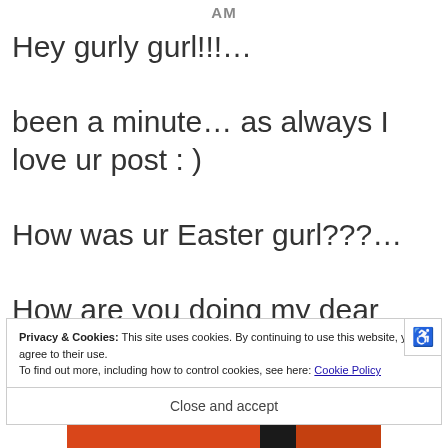AM
Hey gurly gurl!!!...

been a minute… as always I love ur post : )

How was ur Easter gurl???...

How are you doing my dear friend???... I've missed ya happy
Privacy & Cookies: This site uses cookies. By continuing to use this website, you agree to their use.
To find out more, including how to control cookies, see here: Cookie Policy
Close and accept